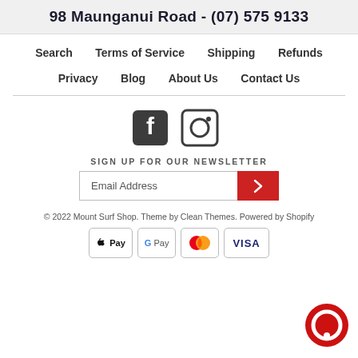98 Maunganui Road - (07) 575 9133
Search   Terms of Service   Shipping   Refunds
Privacy   Blog   About Us   Contact Us
[Figure (illustration): Facebook and Instagram social media icons]
SIGN UP FOR OUR NEWSLETTER
[Figure (screenshot): Email address input field with red submit button showing a right arrow]
© 2022 Mount Surf Shop. Theme by Clean Themes. Powered by Shopify
[Figure (illustration): Payment method icons: Apple Pay, Google Pay, Mastercard, Visa]
[Figure (illustration): Red circular chat button in bottom right corner]